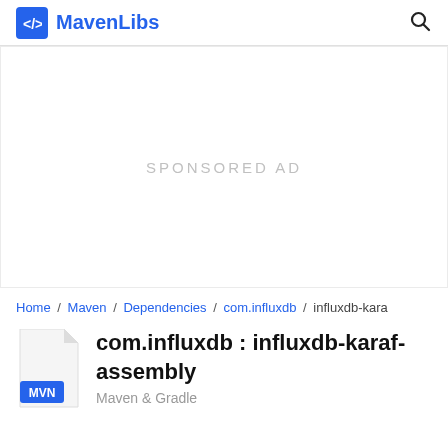MavenLibs
[Figure (other): Sponsored advertisement placeholder area]
Home / Maven / Dependencies / com.influxdb / influxdb-kara
com.influxdb : influxdb-karaf-assembly
Maven & Gradle